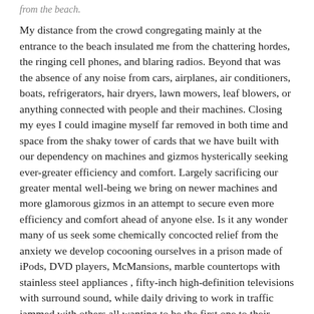from the beach. (truncated top)
My distance from the crowd congregating mainly at the entrance to the beach insulated me from the chattering hordes, the ringing cell phones, and blaring radios. Beyond that was the absence of any noise from cars, airplanes, air conditioners, boats, refrigerators, hair dryers, lawn mowers, leaf blowers, or anything connected with people and their machines. Closing my eyes I could imagine myself far removed in both time and space from the shaky tower of cards that we have built with our dependency on machines and gizmos hysterically seeking ever-greater efficiency and comfort. Largely sacrificing our greater mental well-being we bring on newer machines and more glamorous gizmos in an attempt to secure even more efficiency and comfort ahead of anyone else. Is it any wonder many of us seek some chemically concocted relief from the anxiety we develop cocooning ourselves in a prison made of iPods, DVD players, McMansions, marble countertops with stainless steel appliances , fifty-inch high-definition televisions with surround sound, while daily driving to work in traffic jammed with others all wanting to be the first one to their destinations?
For me the sad part in all these revelations is that while I wouldlove to jump off this crazy train and find a far simpler life well away from what I figure one day will come crashing down condemning both the good and bad, I cannot. My children are as tied to this lifestyle as most others and would not willingly separate from it. My wife is already sure that I am several French fries short of a Happy Meal and any mention of downsizing or simplifying an already far too complicated life only gets me a befuddled look of concern at best or her calling fellows attorneys (truncated)